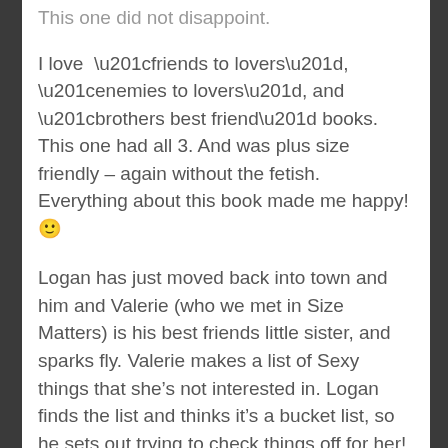This one did not disappoint.
I love “friends to lovers”, “enemies to lovers”, and “brothers best friend” books. This one had all 3. And was plus size friendly – again without the fetish. Everything about this book made me happy! 🙂
Logan has just moved back into town and him and Valerie (who we met in Size Matters) is his best friends little sister, and sparks fly. Valerie makes a list of Sexy things that she’s not interested in. Logan finds the list and thinks it’s a bucket list, so he sets out trying to check things off for her! All while keeping it a secret from Brett, Valerie’s brother!  It really is hilarious and sexy. And Logan. Damn, Logan! ❤️  I was actually